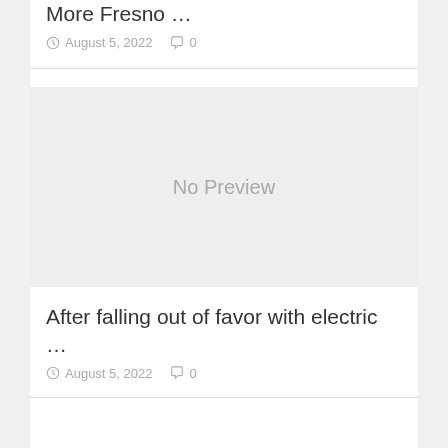More Fresno …
August 5, 2022   0
[Figure (other): No Preview placeholder image box with light grey background]
After falling out of favor with electric …
August 5, 2022   0